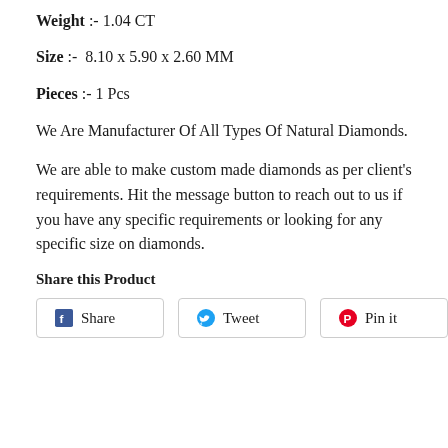Weight :- 1.04 CT
Size :-  8.10 x 5.90 x 2.60 MM
Pieces :- 1 Pcs
We Are Manufacturer Of All Types Of Natural Diamonds.
We are able to make custom made diamonds as per client's requirements. Hit the message button to reach out to us if you have any specific requirements or looking for any specific size on diamonds.
Share this Product
Share  Tweet  Pin it